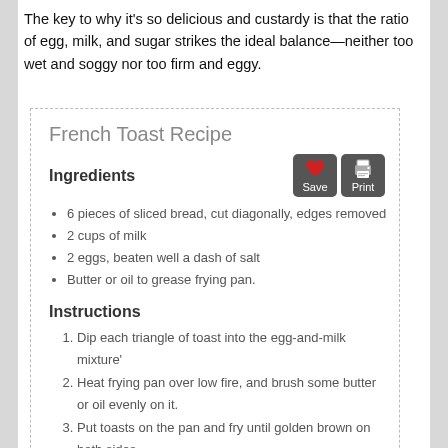The key to why it's so delicious and custardy is that the ratio of egg, milk, and sugar strikes the ideal balance—neither too wet and soggy nor too firm and eggy.
French Toast Recipe
Ingredients
6 pieces of sliced bread, cut diagonally, edges removed
2 cups of milk
2 eggs, beaten well a dash of salt
Butter or oil to grease frying pan.
Instructions
Dip each triangle of toast into the egg-and-milk mixture'
Heat frying pan over low fire, and brush some butter or oil evenly on it.
Put toasts on the pan and fry until golden brown on both sides.
Sprinkle sugar on toasts, if desired.